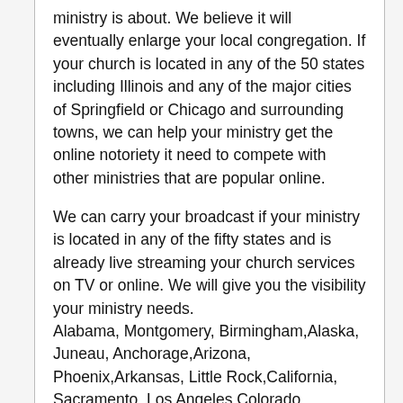ministry is about. We believe it will eventually enlarge your local congregation. If your church is located in any of the 50 states including Illinois and any of the major cities of Springfield or Chicago and surrounding towns, we can help your ministry get the online notoriety it need to compete with other ministries that are popular online.
We can carry your broadcast if your ministry is located in any of the fifty states and is already live streaming your church services on TV or online. We will give you the visibility your ministry needs.
Alabama, Montgomery, Birmingham,Alaska, Juneau, Anchorage,Arizona, Phoenix,Arkansas, Little Rock,California, Sacramento, Los Angeles,Colorado, Denver,Connecticut, Hartford,